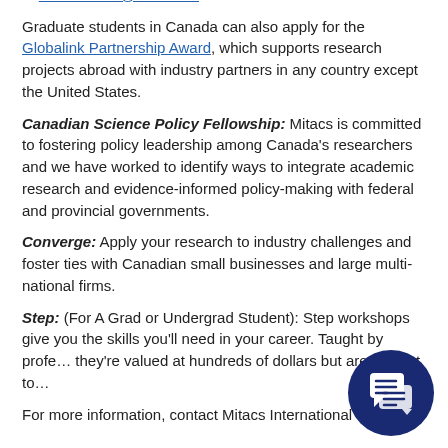If you have any questions, contact Mitacs International at international@mitacs.ca.
Graduate students in Canada can also apply for the Globalink Partnership Award, which supports research projects abroad with industry partners in any country except the United States.
Canadian Science Policy Fellowship: Mitacs is committed to fostering policy leadership among Canada's researchers and we have worked to identify ways to integrate academic research and evidence-informed policy-making with federal and provincial governments.
Converge: Apply your research to industry challenges and foster ties with Canadian small businesses and large multi-national firms.
Step: (For A Grad or Undergrad Student): Step workshops give you the skills you'll need in your career. Taught by profe… they're valued at hundreds of dollars but are no cost to…
For more information, contact Mitacs International